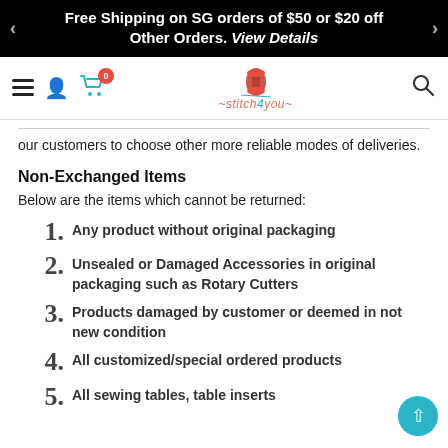Free Shipping on SG orders of $50 or $20 off Other Orders. View Details
[Figure (screenshot): Navigation bar with hamburger menu, person icon, cart icon with badge showing 0, centered logo of stitch4you with spool of thread, and search icon]
our customers to choose other more reliable modes of deliveries.
Non-Exchanged Items
Below are the items which cannot be returned:
Any product without original packaging
Unsealed or Damaged Accessories in original packaging such as Rotary Cutters
Products damaged by customer or deemed in not new condition
All customized/special ordered products
All sewing tables, table inserts